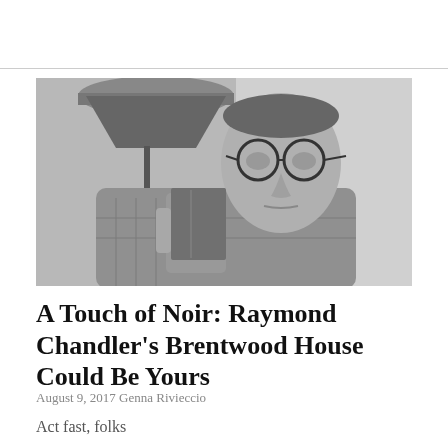[Figure (photo): Black and white photograph of Raymond Chandler, a middle-aged man wearing glasses and a plaid jacket, holding and examining a book or object near a lamp.]
A Touch of Noir: Raymond Chandler's Brentwood House Could Be Yours
August 9, 2017 Genna Rivieccio
Act fast, folks